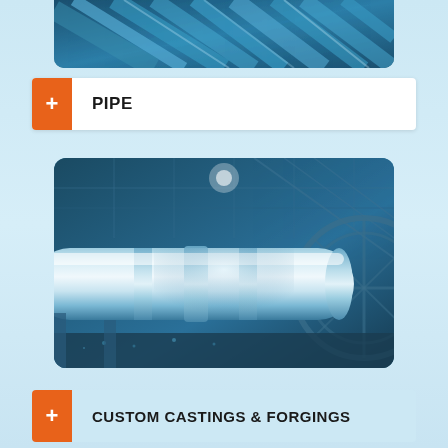[Figure (photo): Close-up photo of industrial metal pipes with blue tint, viewed from below/side angle in a workshop or industrial setting]
+ PIPE
[Figure (photo): Large industrial metal cylinder or shaft/roll in a manufacturing facility, blue-tinted photo showing heavy machinery with overhead structure]
+ CUSTOM CASTINGS & FORGINGS